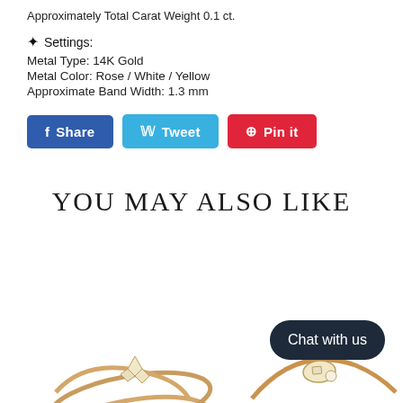Approximately Total Carat Weight 0.1 ct.
✦ Settings:
Metal Type: 14K Gold
Metal Color: Rose / White / Yellow
Approximate Band Width: 1.3 mm
Share  Tweet  Pin it
YOU MAY ALSO LIKE
[Figure (photo): Two gold rings with diamond accents shown at bottom of page]
Chat with us